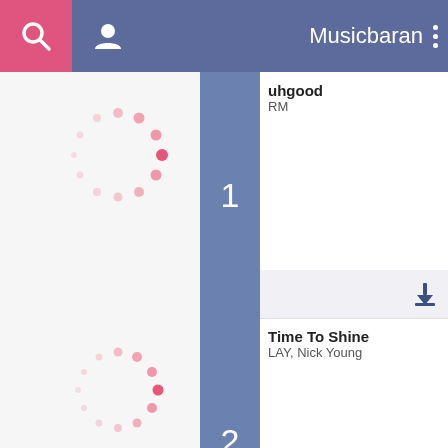Musicbaran
1 - uhgood - RM
2 - Time To Shine - LAY, Nick Young
3 - I Need The Light - ENHYPEN
4 - Coffee - BTS